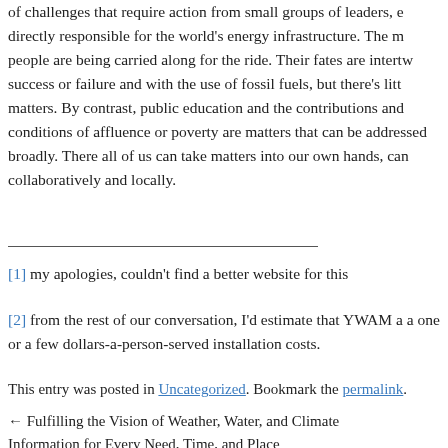of challenges that require action from small groups of leaders, e directly responsible for the world's energy infrastructure. The m people are being carried along for the ride. Their fates are intertw success or failure and with the use of fossil fuels, but there's litt matters. By contrast, public education and the contributions and conditions of affluence or poverty are matters that can be addresse broadly. There all of us can take matters into our own hands, can collaboratively and locally.
[1] my apologies, couldn't find a better website for this
[2] from the rest of our conversation, I'd estimate that YWAM a a one or a few dollars-a-person-served installation costs.
This entry was posted in Uncategorized. Bookmark the permalink.
← Fulfilling the Vision of Weather, Water, and Climate Information for Every Need, Time, and Place